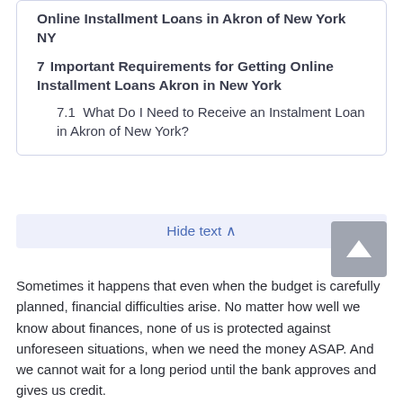Online Installment Loans in Akron of New York NY
7 Important Requirements for Getting Online Installment Loans Akron in New York
7.1 What Do I Need to Receive an Instalment Loan in Akron of New York?
Hide text ∧
Sometimes it happens that even when the budget is carefully planned, financial difficulties arise. No matter how well we know about finances, none of us is protected against unforeseen situations, when we need the money ASAP. And we cannot wait for a long period until the bank approves and gives us credit.